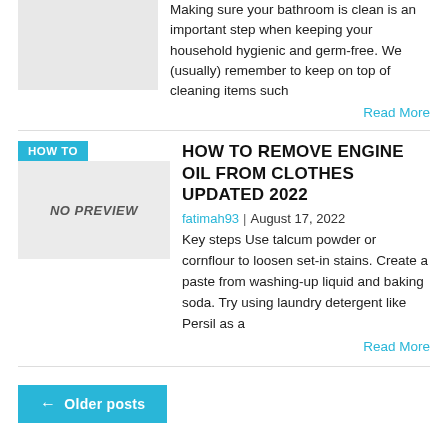Making sure your bathroom is clean is an important step when keeping your household hygienic and germ-free. We (usually) remember to keep on top of cleaning items such
Read More
HOW TO REMOVE ENGINE OIL FROM CLOTHES UPDATED 2022
fatimah93 | August 17, 2022
Key steps Use talcum powder or cornflour to loosen set-in stains. Create a paste from washing-up liquid and baking soda. Try using laundry detergent like Persil as a
Read More
← Older posts